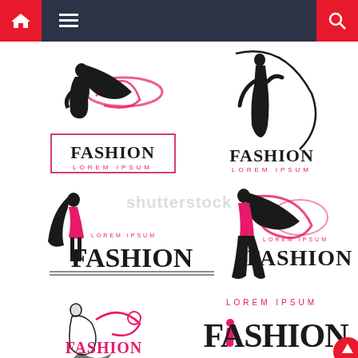[Figure (screenshot): Navigation bar with dark blue background, red home icon button on left, hamburger menu icon, and red search icon on right]
[Figure (illustration): Six fashion logo designs arranged in a 2x3 grid on white background. Each logo features a female silhouette in black with pink accents, combined with the text FASHION and LOREM IPSUM. Top-left: seated woman with flowing hair in a rectangular border. Top-right: standing model silhouette with circular sweep. Middle-left: pink dress woman with tall FASHION text. Middle-right: woman in pink top with swirling hair and FASHION text. Bottom-left: seated woman with floral elements and pink FASHION text. Bottom-right: pink LOREM IPSUM above large black FASHION with small pink figure. Shutterstock watermark visible across center.]